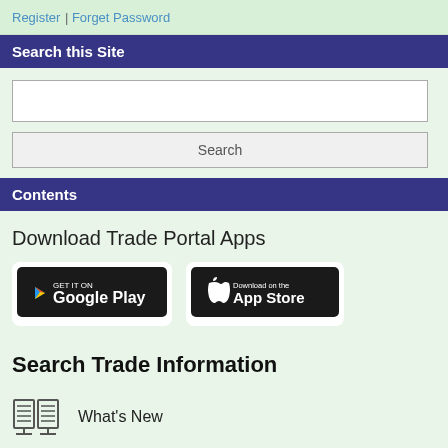Register | Forget Password
Search this Site
[Search input field]
Search
Contents
Download Trade Portal Apps
[Figure (logo): Google Play and App Store download buttons]
Search Trade Information
What's New
Legal Documents